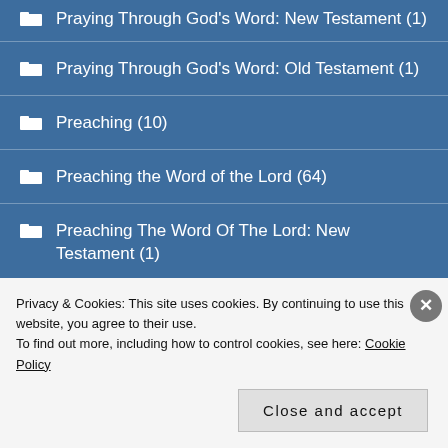Praying Through God's Word: New Testament (1)
Praying Through God's Word: Old Testament (1)
Preaching (10)
Preaching the Word of the Lord (64)
Preaching The Word Of The Lord: New Testament (1)
Preaching the Word of the Lord: Old Testament (1)
Privacy & Cookies: This site uses cookies. By continuing to use this website, you agree to their use. To find out more, including how to control cookies, see here: Cookie Policy
Close and accept